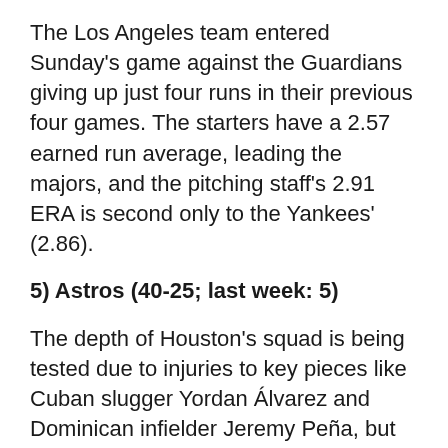The Los Angeles team entered Sunday's game against the Guardians giving up just four runs in their previous four games. The starters have a 2.57 earned run average, leading the majors, and the pitching staff's 2.91 ERA is second only to the Yankees' (2.86).
5) Astros (40-25; last week: 5)
The depth of Houston's squad is being tested due to injuries to key pieces like Cuban slugger Yordan Álvarez and Dominican infielder Jeremy Peña, but the most intriguing story will begin on Tuesday, when the Astros will play nine games against the teams. from New York (who are No. 1 and No. 2 in the Rankings). The Astros, the only team